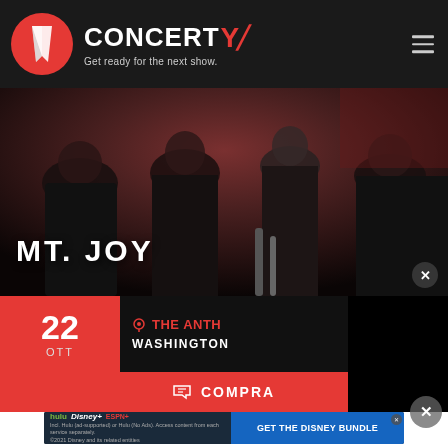[Figure (logo): Concerty logo with tagline 'Get ready for the next show.' on dark header background]
[Figure (photo): Concert audience photo showing people sitting, with 'MT. JOY' band name overlay in white bold text]
22
OTT
THE ANTH
WASHINGTON
COMPRA
[Figure (screenshot): Disney Bundle advertisement banner showing Hulu, Disney+, ESPN+ logos with 'GET THE DISNEY BUNDLE' call to action]